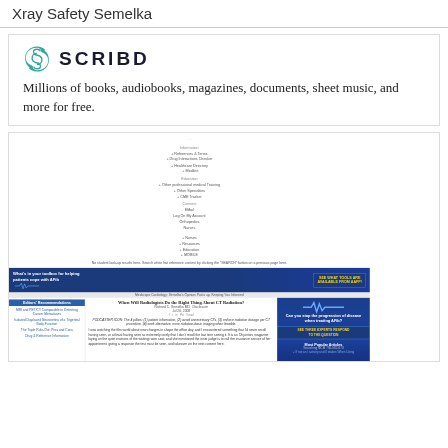Xray Safety Semelka
[Figure (screenshot): Scribd logo with teal S icon and SCRIBD wordmark in bold uppercase letters]
Millions of books, audiobooks, magazines, documents, sheet music, and more for free.
[Figure (screenshot): Screenshot of a medical website (Xray Safety Semelka on Scribd) showing navigation menu, search bar text, a blue AAFP banner, article titled 'When Will Radiologists Do the Right Thing About CT Radiation?' by Richard C. Semelka MD, with sidebar recommendations and article text.]